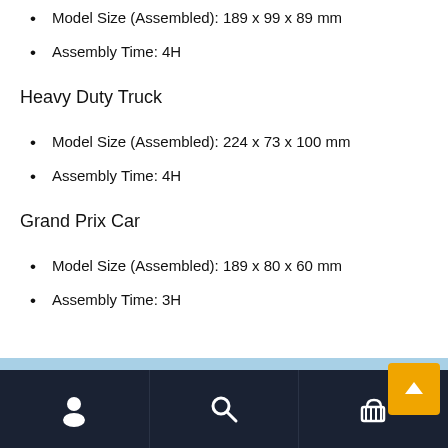Model Size (Assembled): 189 x 99 x 89 mm
Assembly Time: 4H
Heavy Duty Truck
Model Size (Assembled): 224 x 73 x 100 mm
Assembly Time: 4H
Grand Prix Car
Model Size (Assembled): 189 x 80 x 60 mm
Assembly Time: 3H
[Figure (photo): Outdoor landscape photo showing green hills and blue sky, partially visible at bottom of page]
Navigation bar with user icon, search icon, and cart icon (0 items)